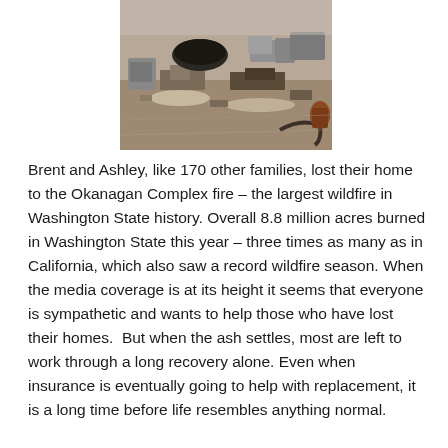[Figure (photo): Photograph of fire-destroyed property showing rubble, ash, burned debris, concrete blocks and remnants of a destroyed home from the Okanagan Complex fire.]
Brent and Ashley, like 170 other families, lost their home to the Okanagan Complex fire – the largest wildfire in Washington State history. Overall 8.8 million acres burned in Washington State this year – three times as many as in California, which also saw a record wildfire season. When the media coverage is at its height it seems that everyone is sympathetic and wants to help those who have lost their homes.  But when the ash settles, most are left to work through a long recovery alone. Even when insurance is eventually going to help with replacement, it is a long time before life resembles anything normal.